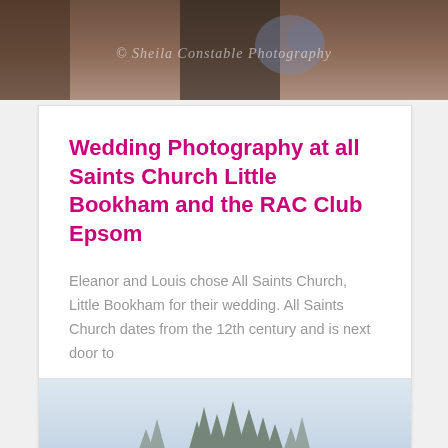[Figure (photo): Wedding photo with watermark '© Sheila Constable Photography' showing a couple near a tree with flowers]
Wedding Photography at all Saints Church Little Bookham and the RAC Club Epsom
Eleanor and Louis chose All Saints Church, Little Bookham for their wedding. All Saints Church dates from the 12th century and is next door to
READ MORE »
19th February 2017
[Figure (photo): Outdoor winter scene with tree silhouettes against a light sky]